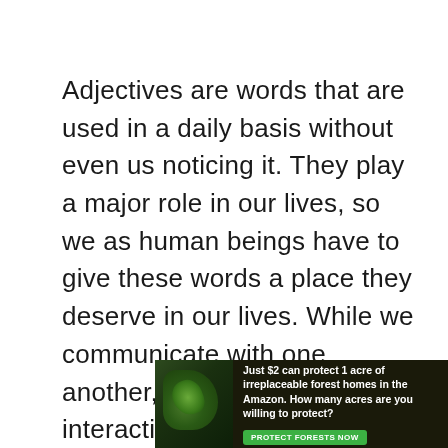Adjectives are words that are used in a daily basis without even us noticing it. They play a major role in our lives, so we as human beings have to give these words a place they deserve in our lives. While we communicate with one another, initiate or continue interaction with other people we know or even do not know, these words are everything. They are the ones who decide our future relationship with the
[Figure (other): Advertisement banner with forest/Amazon background image on the left and text: 'Just $2 can protect 1 acre of irreplaceable forest homes in the Amazon. How many acres are you willing to protect?' with a green 'PROTECT FORESTS NOW' button.]